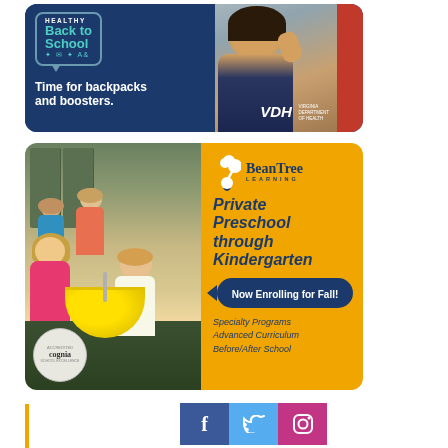[Figure (illustration): VDH Healthy Back to School advertisement. Dark navy blue banner with a photo of a young girl in a classroom. Text reads 'HEALTHY Back to School' in a speech bubble, 'Time for backpacks and boosters.' in bold white text, and VDH Virginia Department of Health logo.]
[Figure (illustration): BeanTree Learning private preschool advertisement. Left half shows photo of children doing an activity with a yellow bowl. Right half has orange background with BeanTree Learning logo, italic text 'Private Preschool through Kindergarten', blue banner 'Now Enrolling for Fall!', italic text 'Specialty Programs Advanced Curriculum Before/After School'. Cognia accreditation badge in lower left.]
[Figure (illustration): Social media icons bar showing Facebook (f), Twitter (bird), and Instagram (camera) icons in blue, light blue, and pink/red respectively.]